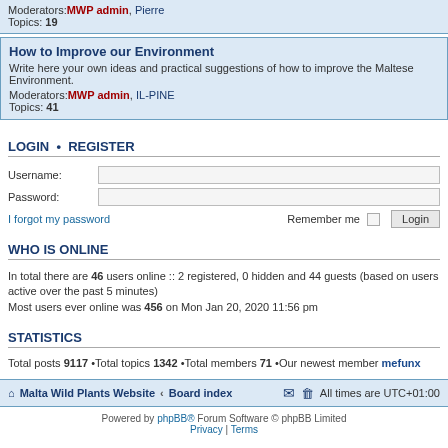Moderators: MWP admin, Pierre
Topics: 19
How to Improve our Environment
Write here your own ideas and practical suggestions of how to improve the Maltese Environment.
Moderators: MWP admin, IL-PINE
Topics: 41
LOGIN • REGISTER
Username:
Password:
I forgot my password
Remember me  Login
WHO IS ONLINE
In total there are 46 users online :: 2 registered, 0 hidden and 44 guests (based on users active over the past 5 minutes)
Most users ever online was 456 on Mon Jan 20, 2020 11:56 pm
STATISTICS
Total posts 9117 •Total topics 1342 •Total members 71 •Our newest member mefunx
Malta Wild Plants Website • Board index  All times are UTC+01:00
Powered by phpBB® Forum Software © phpBB Limited
Privacy | Terms